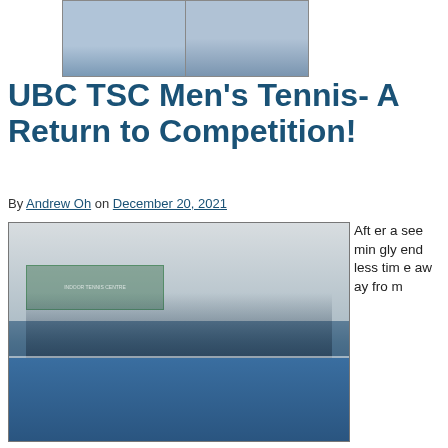[Figure (photo): Top photo showing two panels of a tennis team or players on a court, cropped at the top of the page.]
UBC TSC Men's Tennis- A Return to Competition!
By Andrew Oh on December 20, 2021
[Figure (photo): Group photo of the UBC TSC Men's Tennis team posing together on an indoor tennis court, some wearing masks, dressed in team attire.]
After a seemingly endless time away from